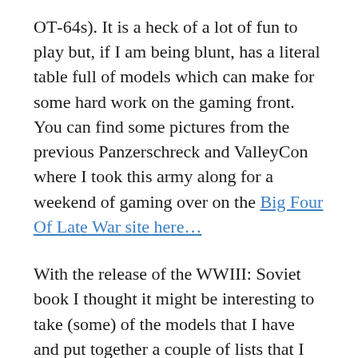OT-64s). It is a heck of a lot of fun to play but, if I am being blunt, has a literal table full of models which can make for some hard work on the gaming front. You can find some pictures from the previous Panzerschreck and ValleyCon where I took this army along for a weekend of gaming over on the Big Four Of Late War site here…
With the release of the WWIII: Soviet book I thought it might be interesting to take (some) of the models that I have and put together a couple of lists that I can use when I am wanting a faster game. Clearly these are some more motivated, better trained, and in some cases better equipped Czechoslovakian forces –